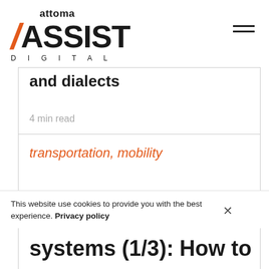attoma ASSIST DIGITAL
and dialects
4 min read
transportation, mobility
This website use cookies to provide you with the best experience. Privacy policy
systems (1/3): How to